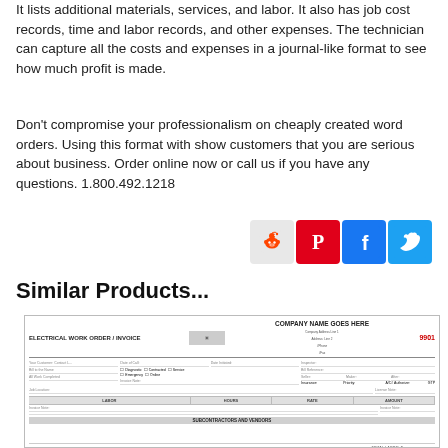It lists additional materials, services, and labor. It also has job cost records, time and labor records, and other expenses. The technician can capture all the costs and expenses in a journal-like format to see how much profit is made.
Don't compromise your professionalism on cheaply created word orders. Using this format with show customers that you are serious about business. Order online now or call us if you have any questions. 1.800.492.1218
[Figure (infographic): Social media sharing icons: Reddit (grey), Pinterest (red), Facebook (blue), Twitter (light blue)]
Similar Products...
[Figure (other): Preview image of an Electrical Work Order / Invoice form with company name placeholder, job details, labor section, materials section with QTY, MATERIAL, UNIT, AMOUNT columns, and signature/terms area.]